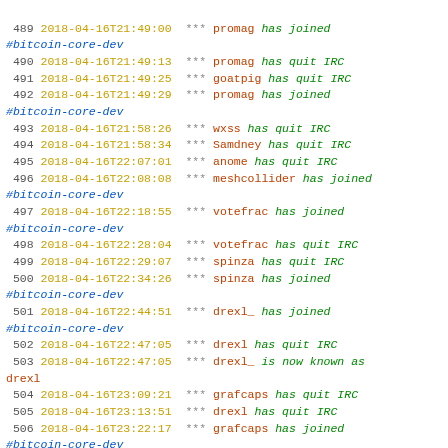IRC chat log entries 489-507, #bitcoin-core-dev channel, 2018-04-16
489 2018-04-16T21:49:00 *** promag has joined #bitcoin-core-dev
490 2018-04-16T21:49:13 *** promag has quit IRC
491 2018-04-16T21:49:25 *** goatpig has quit IRC
492 2018-04-16T21:49:29 *** promag has joined #bitcoin-core-dev
493 2018-04-16T21:58:26 *** wxss has quit IRC
494 2018-04-16T21:58:34 *** Samdney has quit IRC
495 2018-04-16T22:07:01 *** anome has quit IRC
496 2018-04-16T22:08:08 *** meshcollider has joined #bitcoin-core-dev
497 2018-04-16T22:18:55 *** votefrac has joined #bitcoin-core-dev
498 2018-04-16T22:28:04 *** votefrac has quit IRC
499 2018-04-16T22:29:07 *** spinza has quit IRC
500 2018-04-16T22:34:26 *** spinza has joined #bitcoin-core-dev
501 2018-04-16T22:44:51 *** drexl_ has joined #bitcoin-core-dev
502 2018-04-16T22:47:05 *** drexl has quit IRC
503 2018-04-16T22:47:05 *** drexl_ is now known as drexl
504 2018-04-16T23:09:21 *** grafcaps has quit IRC
505 2018-04-16T23:13:51 *** drexl has quit IRC
506 2018-04-16T23:22:17 *** grafcaps has joined #bitcoin-core-dev
507 2018-04-16T23:23:58 *** Giszmo has joined #bitcoin-core-dev